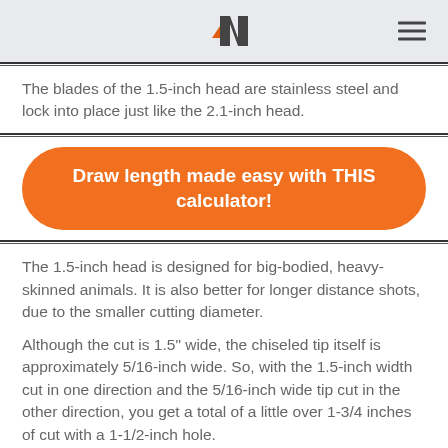N [logo] [hamburger menu]
The blades of the 1.5-inch head are stainless steel and lock into place just like the 2.1-inch head.
[Figure (other): Orange rounded rectangle button with white bold text reading 'Draw length made easy with THIS calculator!']
The 1.5-inch head is designed for big-bodied, heavy-skinned animals. It is also better for longer distance shots, due to the smaller cutting diameter.
Although the cut is 1.5" wide, the chiseled tip itself is approximately 5/16-inch wide. So, with the 1.5-inch width cut in one direction and the 5/16-inch wide tip cut in the other direction, you get a total of a little over 1-3/4 inches of cut with a 1-1/2-inch hole.